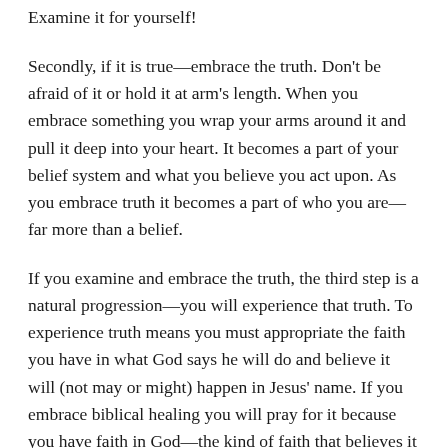Examine it for yourself!
Secondly, if it is true—embrace the truth. Don't be afraid of it or hold it at arm's length. When you embrace something you wrap your arms around it and pull it deep into your heart. It becomes a part of your belief system and what you believe you act upon. As you embrace truth it becomes a part of who you are—far more than a belief.
If you examine and embrace the truth, the third step is a natural progression—you will experience that truth. To experience truth means you must appropriate the faith you have in what God says he will do and believe it will (not may or might) happen in Jesus' name. If you embrace biblical healing you will pray for it because you have faith in God—the kind of faith that believes it is the will of God to heal. Experience is nothing more than stepping out in faith. Without faith it is impossible to please God. Once you experience it—you are hooked. It becomes real.